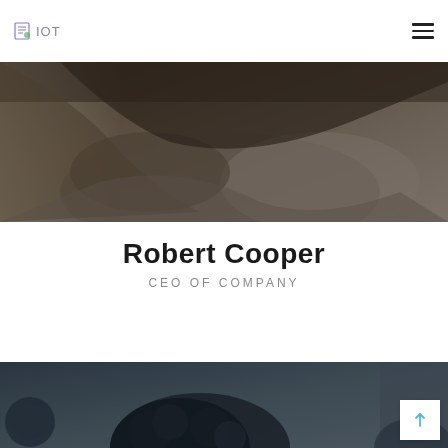IOT
[Figure (photo): Close-up photo of a person in dark clothing, partially visible, sitting in a dimly lit setting with dark tones.]
Robert Cooper
CEO OF COMPANY
[Figure (photo): Partial photo at bottom of page showing a person with curly dark hair in a dark toned setting.]